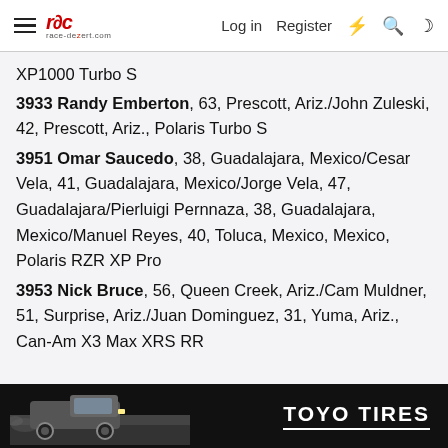ROC race-dezert.com — Log in | Register
XP1000 Turbo S
3933 Randy Emberton, 63, Prescott, Ariz./John Zuleski, 42, Prescott, Ariz., Polaris Turbo S
3951 Omar Saucedo, 38, Guadalajara, Mexico/Cesar Vela, 41, Guadalajara, Mexico/Jorge Vela, 47, Guadalajara/Pierluigi Pernnaza, 38, Guadalajara, Mexico/Manuel Reyes, 40, Toluca, Mexico, Mexico, Polaris RZR XP Pro
3953 Nick Bruce, 56, Queen Creek, Ariz./Cam Muldner, 51, Surprise, Ariz./Juan Dominguez, 31, Yuma, Ariz., Can-Am X3 Max XRS RR
[Figure (other): Toyo Tires advertisement banner with a truck racing in the desert and the Toyo Tires logo]